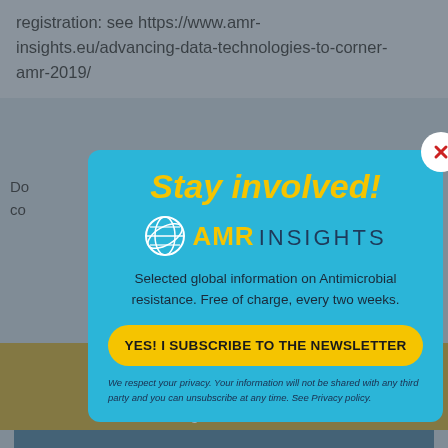registration: see https://www.amr-insights.eu/advancing-data-technologies-to-corner-amr-2019/
Do... co...
[Figure (screenshot): Modal popup overlay on a website page. The modal has a light blue background and contains: 'Stay involved!' in large bold yellow italic text, the AMR Insights logo (globe icon + 'AMR' in yellow bold + 'INSIGHTS' in dark blue), descriptive text 'Selected global information on Antimicrobial resistance. Free of charge, every two weeks.', a yellow rounded button 'YES! I SUBSCRIBE TO THE NEWSLETTER', privacy disclaimer text in italic, and behind the modal are partially visible page elements including gold buttons and teal navigation buttons with 'MATCHMAKING' labels. A white circular close button with red X is in the top-right of the modal.]